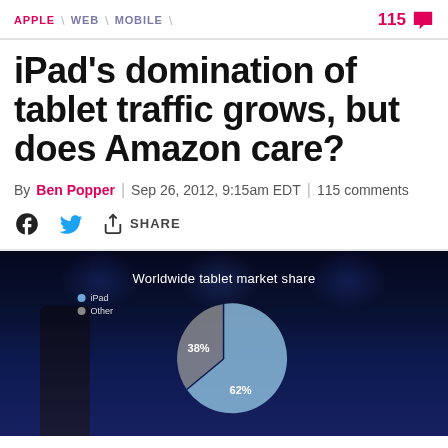APPLE / WEB / MOBILE
iPad's domination of tablet traffic grows, but does Amazon care?
By Ben Popper | Sep 26, 2012, 9:15am EDT | 115 comments
f [twitter] SHARE
[Figure (photo): Dark stage photo with a pie chart showing Worldwide tablet market share: iPad 62%, Other 38%]